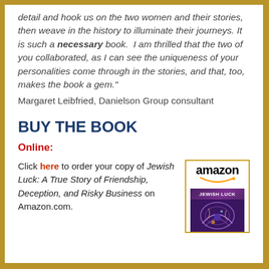detail and hook us on the two women and their stories, then weave in the history to illuminate their journeys. It is such a necessary book. I am thrilled that the two of you collaborated, as I can see the uniqueness of your personalities come through in the stories, and that, too, makes the book a gem." Margaret Leibfried, Danielson Group consultant
BUY THE BOOK
Online:
Click here to order your copy of Jewish Luck: A True Story of Friendship, Deception, and Risky Business on Amazon.com.
[Figure (illustration): Amazon logo with smile swoosh beneath text, and a book cover for Jewish Luck showing decorative dark purple design]